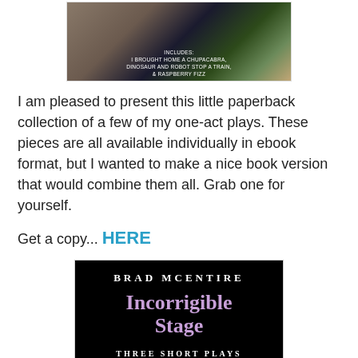[Figure (photo): Photo of a book being held up, showing the cover with text about included plays: I Brought Home a Chupacabra, Dinosaur and Robot Stop a Train, & Raspberry Fizz]
I am pleased to present this little paperback collection of a few of my one-act plays. These pieces are all available individually in ebook format, but I wanted to make a nice book version that would combine them all. Grab one for yourself.
Get a copy... HERE
[Figure (photo): Book cover showing 'BRAD McENTIRE - INCORRIGIBLE STAGE - THREE SHORT PLAYS' in white and purple text on a black background]